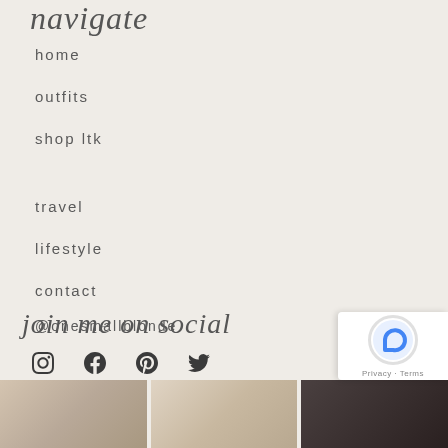navigate
home
outfits
shop ltk
travel
lifestyle
contact
join me on social
@onesmallblonde
[Figure (other): Social media icons: Instagram, Facebook, Pinterest, Twitter]
[Figure (photo): Three partial photos at the bottom of the page]
[Figure (other): reCAPTCHA widget with Privacy and Terms text]